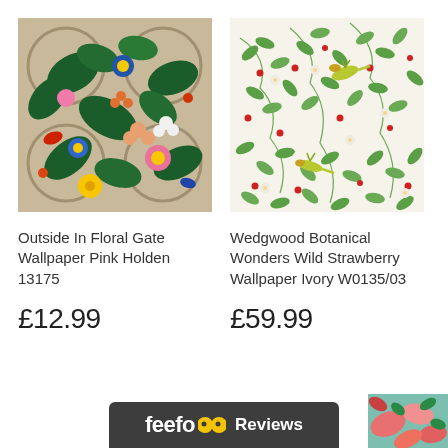[Figure (photo): Outside In Floral Gate Wallpaper Pink – lush tropical botanical pattern with large green leaves, colorful flowers in blue, pink, yellow, and birds, on a beige/tan lattice background]
Outside In Floral Gate Wallpaper Pink Holden 13175
£12.99
[Figure (photo): Wedgwood Botanical Wonders Wild Strawberry Wallpaper Ivory – delicate white/cream background with green leaf sprigs, small red berries, white flowers, and yellow-green hummingbirds]
Wedgwood Botanical Wonders Wild Strawberry Wallpaper Ivory W0135/03
£59.99
[Figure (logo): Feefo Reviews logo bar – dark grey rounded rectangle with 'feefo' in white bold text, two orange/yellow circle emoji eyes, and 'Reviews' in white bold text]